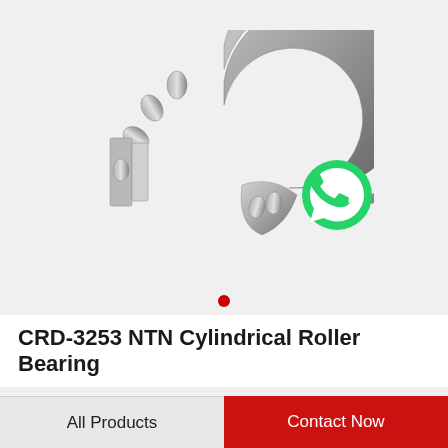[Figure (illustration): Cross-section illustration of an NTN CRD-3253 cylindrical roller bearing, shown in a C-shape cutaway revealing the internal roller and race structure, rendered in gray metallic tones. A WhatsApp green circle icon with phone receiver symbol is shown to the right side, with text 'WhatsApp Online' below it.]
NTN CRD-3253
CRD-3253 NTN Cylindrical Roller Bearing
All Products
Contact Now